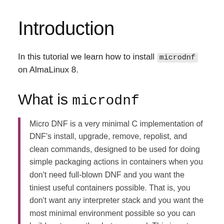Introduction
In this tutorial we learn how to install microdnf on AlmaLinux 8.
What is microdnf
Micro DNF is a very minimal C implementation of DNF's install, upgrade, remove, repolist, and clean commands, designed to be used for doing simple packaging actions in containers when you don't need full-blown DNF and you want the tiniest useful containers possible. That is, you don't want any interpreter stack and you want the most minimal environment possible so you can build up to exactly what you need. This is not a substitute for DNF for real ...